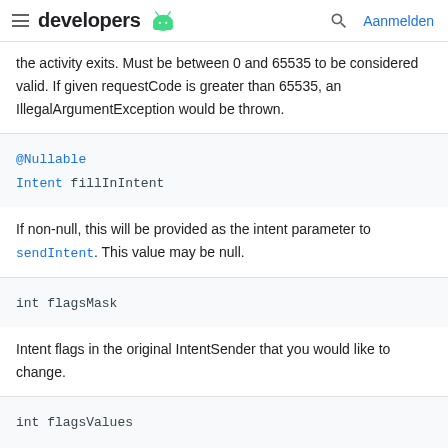developers
the activity exits. Must be between 0 and 65535 to be considered valid. If given requestCode is greater than 65535, an IllegalArgumentException would be thrown.
@Nullable
Intent fillInIntent
If non-null, this will be provided as the intent parameter to sendIntent. This value may be null.
int flagsMask
Intent flags in the original IntentSender that you would like to change.
int flagsValues